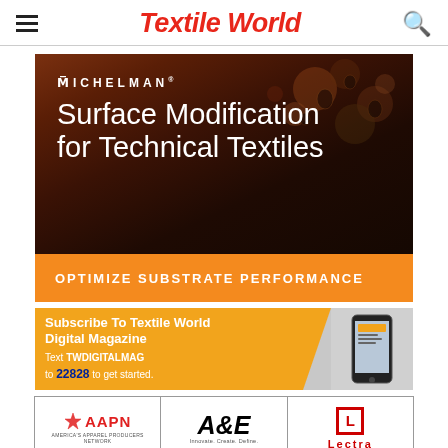Textile World
[Figure (advertisement): Michelman advertisement: Surface Modification for Technical Textiles. Dark textured fabric background with water droplets. Orange bar at bottom: OPTIMIZE SUBSTRATE PERFORMANCE]
[Figure (advertisement): Subscribe To Textile World Digital Magazine. Text TWDIGITALMAG to 22828 to get started. Shows smartphone image.]
[Figure (logo): Three sponsor logos: AAPN (America's Apparel Producers Network), A&E (Innovate. Create. Define.), Lectra]